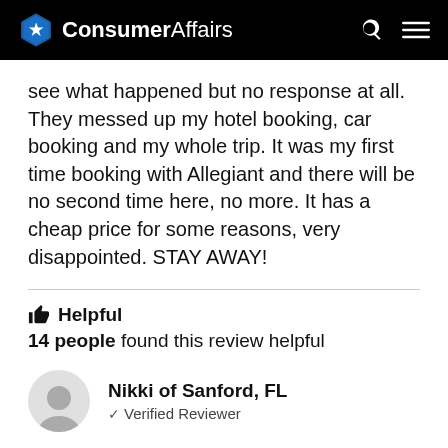ConsumerAffairs
see what happened but no response at all. They messed up my hotel booking, car booking and my whole trip. It was my first time booking with Allegiant and there will be no second time here, no more. It has a cheap price for some reasons, very disappointed. STAY AWAY!
👍  Helpful
14 people found this review helpful
Nikki of Sanford, FL
✓ Verified Reviewer